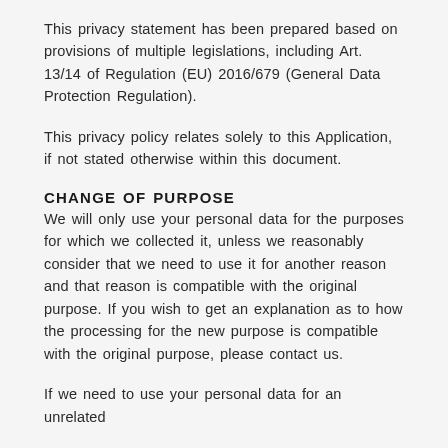This privacy statement has been prepared based on provisions of multiple legislations, including Art. 13/14 of Regulation (EU) 2016/679 (General Data Protection Regulation).
This privacy policy relates solely to this Application, if not stated otherwise within this document.
CHANGE OF PURPOSE
We will only use your personal data for the purposes for which we collected it, unless we reasonably consider that we need to use it for another reason and that reason is compatible with the original purpose. If you wish to get an explanation as to how the processing for the new purpose is compatible with the original purpose, please contact us.
If we need to use your personal data for an unrelated